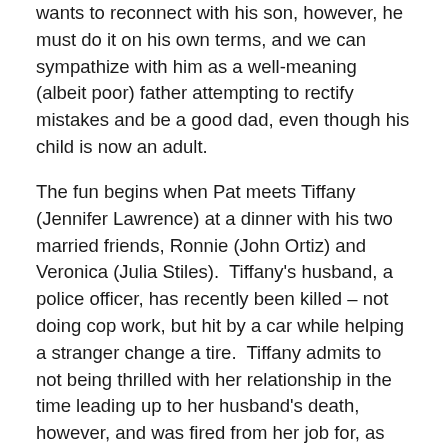wants to reconnect with his son, however, he must do it on his own terms, and we can sympathize with him as a well-meaning (albeit poor) father attempting to rectify mistakes and be a good dad, even though his child is now an adult.
The fun begins when Pat meets Tiffany (Jennifer Lawrence) at a dinner with his two married friends, Ronnie (John Ortiz) and Veronica (Julia Stiles).  Tiffany's husband, a police officer, has recently been killed – not doing cop work, but hit by a car while helping a stranger change a tire.  Tiffany admits to not being thrilled with her relationship in the time leading up to her husband's death, however, and was fired from her job for, as she puts it, “having sex with everyone in the office.”  Pat asks, “Were there any women?”  “Yes,” she says.  “What was that like?”  “Hot.”  Is O. Russell ogling the then-21-year-old Lawrence here?  Yep, absolutely.  Is he making a joke out